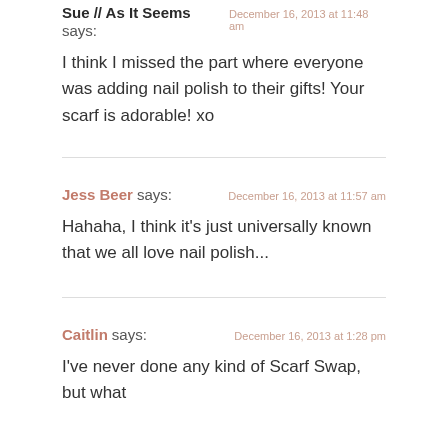Sue // As It Seems says: December 16, 2013 at 11:48 am
I think I missed the part where everyone was adding nail polish to their gifts! Your scarf is adorable! xo
Jess Beer says: December 16, 2013 at 11:57 am
Hahaha, I think it's just universally known that we all love nail polish...
Caitlin says: December 16, 2013 at 1:28 pm
I've never done any kind of Scarf Swap, but what